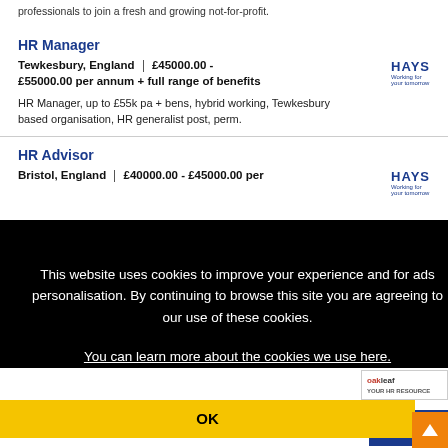professionals to join a fresh and growing not-for-profit.
HR Manager
Tewkesbury, England | £45000.00 - £55000.00 per annum + full range of benefits
HR Manager, up to £55k pa + bens, hybrid working, Tewkesbury based organisation, HR generalist post, perm.
HR Advisor
Bristol, England | £40000.00 - £45000.00 per
This website uses cookies to improve your experience and for ads personalisation. By continuing to browse this site you are agreeing to our use of these cookies.
You can learn more about the cookies we use here.
OK